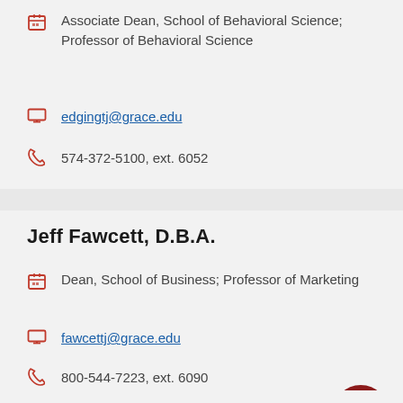Associate Dean, School of Behavioral Science; Professor of Behavioral Science
edgingtj@grace.edu
574-372-5100, ext. 6052
Jeff Fawcett, D.B.A.
Dean, School of Business; Professor of Marketing
fawcettj@grace.edu
800-544-7223, ext. 6090